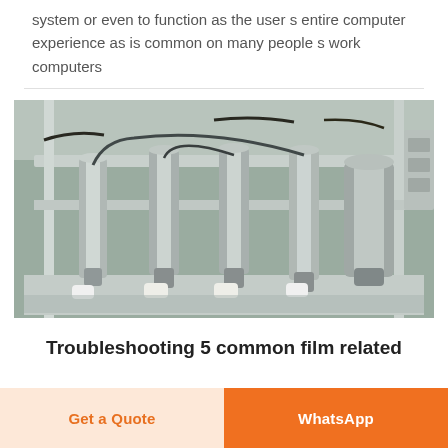system or even to function as the user s entire computer experience as is common on many people s work computers
[Figure (photo): Industrial filling machine with multiple metallic cylinders and pneumatic components mounted on a frame, with small white containers at the bottom]
Troubleshooting 5 common film related
Get a Quote | WhatsApp